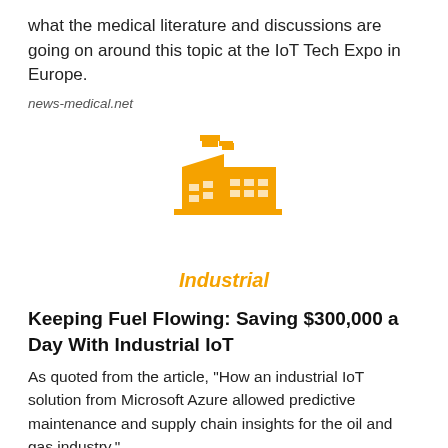what the medical literature and discussions are going on around this topic at the IoT Tech Expo in Europe.
news-medical.net
[Figure (illustration): Orange factory/industrial building icon]
Industrial
Keeping Fuel Flowing: Saving $300,000 a Day With Industrial IoT
As quoted from the article, "How an industrial IoT solution from Microsoft Azure allowed predictive maintenance and supply chain insights for the oil and gas industry."
rtinsights.com